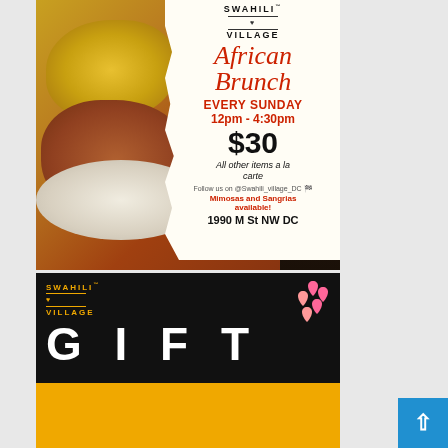[Figure (illustration): Swahili Village African Brunch advertisement. Features food photo background with yellow rice and braised chicken. White torn paper overlay with text: SWAHILI VILLAGE logo, 'African Brunch' in red italic script, 'EVERY SUNDAY', '12pm - 4:30pm', '$30', 'All other items a la carte', 'Follow us on @Swahili_village_DC', 'Mimosas and Sangrias available!', '1990 M St NW DC']
[Figure (illustration): Swahili Village Gift Card advertisement on black and gold background. Shows 'SWAHILI VILLAGE' logo in gold, pink hearts, 'GIFT' in large white letters, white box reading 'SHARE THE LOVE' with heart replacing O, and 'CARD' in large white letters on gold background.]